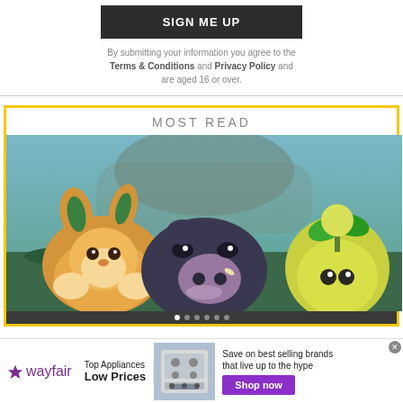SIGN ME UP
By submitting your information you agree to the Terms & Conditions and Privacy Policy and are aged 16 or over.
MOST READ
[Figure (photo): Three Pokemon characters standing together in a grassy/forest background: a yellow rabbit-like Pokemon (Yamper/Fidough), a dark purple pig-like Pokemon (Lechonk), and a yellow pineapple-like Pokemon (Smoliv)]
[Figure (infographic): Wayfair advertisement banner: 'Top Appliances Low Prices' with an image of a stove/range appliance and 'Save on best selling brands that live up to the hype' with a 'Shop now' purple button]